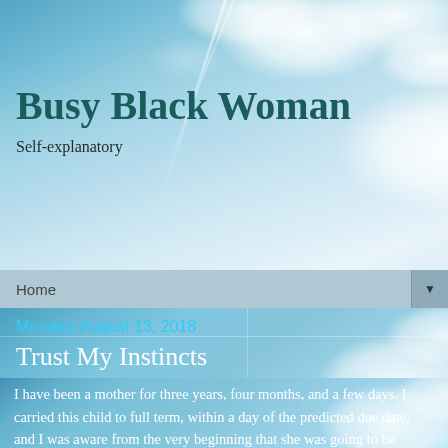Busy Black Woman
Self-explanatory
Home
Monday, August 13, 2018
Trust My Instincts
I have been a mother for three years, four months, and a few days. I carried this child to full term, within a day of the predicted due date, and I was aware from the very beginning that she was going to be unpredictable. Beginning with her insistence not to appear on the sonogram, I learned right away that this child has her own mind. My job is to try to stay at least a step and a half ahead of her.
So when I say something about this child, I KNOW what I